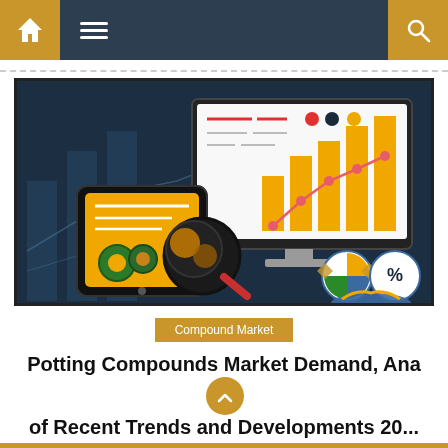Navigation bar with home, menu, and search icons
[Figure (illustration): Market analysis illustration showing a tablet with analytics, a desktop monitor with bar chart and trend line, a magnifying glass, gears, pie chart icons, and a handshake icon on a dark blue background]
Compound Market
Potting Compounds Market Demand, Analysis of Recent Trends and Developments 20...